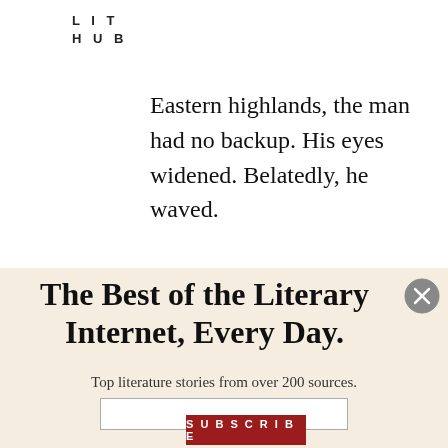LIT
HUB
Eastern highlands, the man had no backup. His eyes widened. Belatedly, he waved.

Jackson sipped from his mug. Makes you wonder.

Makes you wonder whose side he's
The Best of the Literary Internet, Every Day.
Top literature stories from over 200 sources.